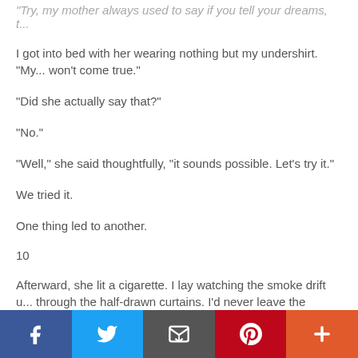"Try, my mother always used to say if you tell your dreams, t...
I got into bed with her wearing nothing but my undershirt. "My... won't come true."
"Did she actually say that?"
"No."
"Well," she said thoughtfully, "it sounds possible. Let's try it."
We tried it.
One thing led to another.
10
Afterward, she lit a cigarette. I lay watching the smoke drift u... through the half-drawn curtains. I'd never leave the curtains t... in my other life, I'm always alone but still careful to close them... Lurking.
[Figure (infographic): Social sharing bar with Facebook, Twitter, Email, Pinterest, and More buttons]